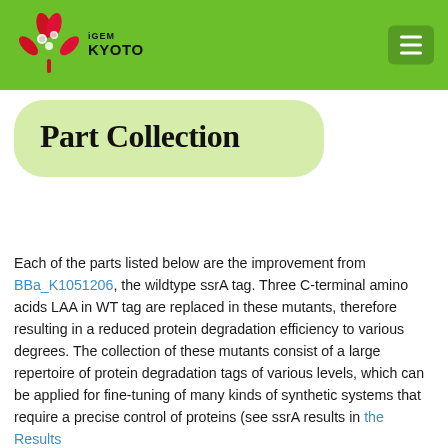iGEM KYOTO
Part Collection
Each of the parts listed below are the improvement from BBa_K1051206, the wildtype ssrA tag. Three C-terminal amino acids LAA in WT tag are replaced in these mutants, therefore resulting in a reduced protein degradation efficiency to various degrees. The collection of these mutants consist of a large repertoire of protein degradation tags of various levels, which can be applied for fine-tuning of many kinds of synthetic systems that require a precise control of proteins (see ssrA results in the Results